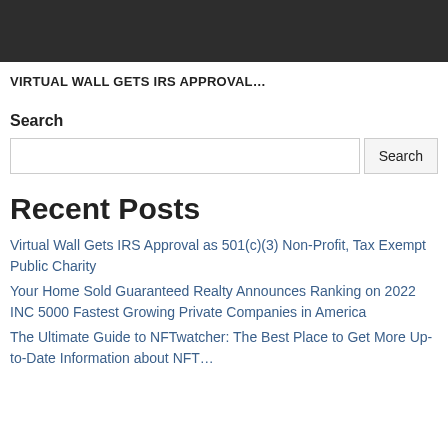[Figure (other): Dark gray/black rectangular banner bar at top of page]
VIRTUAL WALL GETS IRS APPROVAL…
Search
[Search input box and Search button]
Recent Posts
Virtual Wall Gets IRS Approval as 501(c)(3) Non-Profit, Tax Exempt Public Charity
Your Home Sold Guaranteed Realty Announces Ranking on 2022 INC 5000 Fastest Growing Private Companies in America
The Ultimate Guide to NFTwatcher: The Best Place to Get More Up-to-Date Information about NFT…